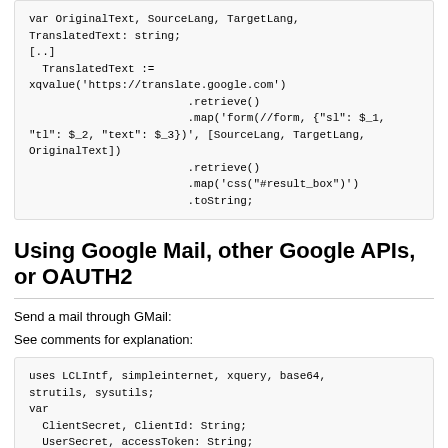var OriginalText, SourceLang, TargetLang,
TranslatedText: string;
[..]
  TranslatedText :=
xqvalue('https://translate.google.com')
                        .retrieve()
                        .map('form(//form, {"sl": $_1,
"tl": $_2, "text": $_3})', [SourceLang, TargetLang,
OriginalText])
                        .retrieve()
                        .map('css("#result_box")')
                        .toString;
Using Google Mail, other Google APIs, or OAUTH2
Send a mail through GMail:
See comments for explanation:
uses LCLIntf, simpleinternet, xquery, base64,
strutils, sysutils;
var
  ClientSecret, ClientId: String;
  UserSecret, accessToken: String;
  response: xquery.IXQValue;
  messageRFC2822: String;
begin
  //First you need to obtain a client id and